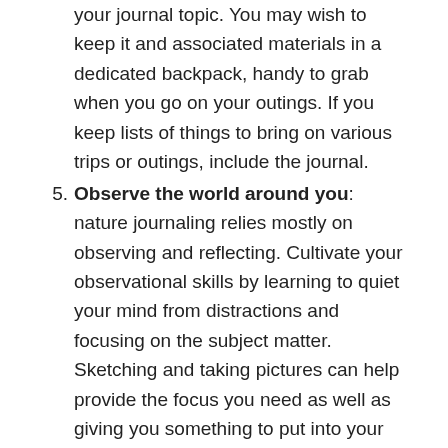your journal topic. You may wish to keep it and associated materials in a dedicated backpack, handy to grab when you go on your outings. If you keep lists of things to bring on various trips or outings, include the journal.
5. Observe the world around you: nature journaling relies mostly on observing and reflecting. Cultivate your observational skills by learning to quiet your mind from distractions and focusing on the subject matter. Sketching and taking pictures can help provide the focus you need as well as giving you something to put into your journal. Slow down. Stop and watch and listen. Get close. Don't be afraid to crouch and move in close. The wonders of nature are often right in front of your nose, just waiting for a new way to be seen.